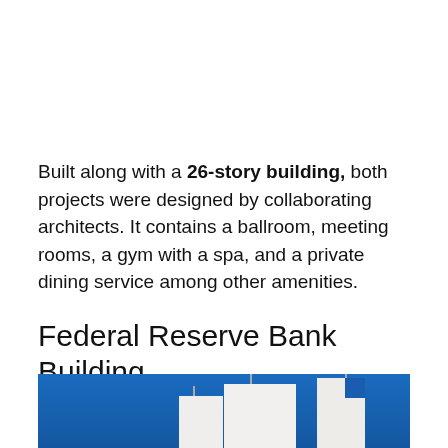Built along with a 26-story building, both projects were designed by collaborating architects. It contains a ballroom, meeting rooms, a gym with a spa, and a private dining service among other amenities.
Federal Reserve Bank Building
[Figure (photo): Photograph of the Federal Reserve Bank Building showing white modernist tower structures against a blue sky, taken from a low angle looking upward.]